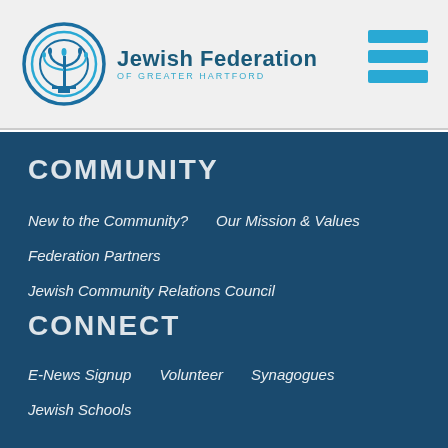[Figure (logo): Jewish Federation of Greater Hartford logo with circular menorah emblem and organization name]
[Figure (other): Hamburger menu icon with three blue horizontal bars]
COMMUNITY
New to the Community?    Our Mission & Values
Federation Partners
Jewish Community Relations Council
CONNECT
E-News Signup    Volunteer    Synagogues
Jewish Schools
CAMPAIGN